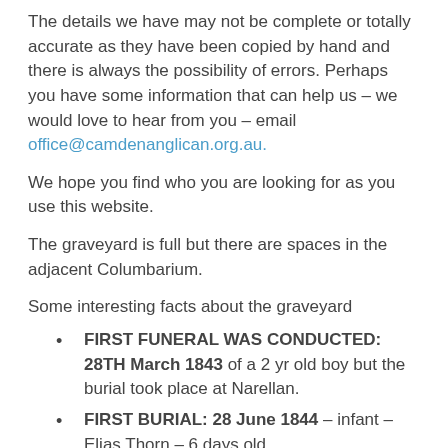The details we have may not be complete or totally accurate as they have been copied by hand and there is always the possibility of errors. Perhaps you have some information that can help us – we would love to hear from you – email office@camdenanglican.org.au.
We hope you find who you are looking for as you use this website.
The graveyard is full but there are spaces in the adjacent Columbarium.
Some interesting facts about the graveyard
FIRST FUNERAL WAS CONDUCTED: 28TH March 1843 of a 2 yr old boy but the burial took place at Narellan.
FIRST BURIAL: 28 June 1844 – infant – Elias Thorn – 6 days old.
BURIED: in section F 093 – there does not appear to